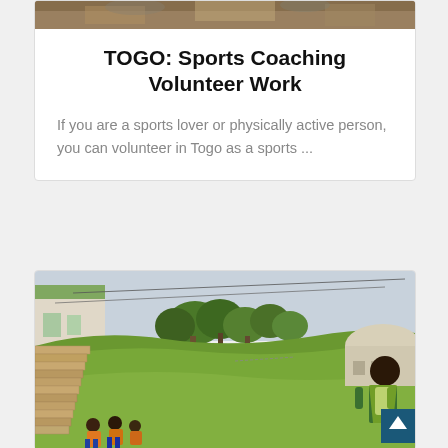[Figure (photo): Partial view of a sports-related image at the top of a card (cropped, shows ground/feet area)]
TOGO: Sports Coaching Volunteer Work
If you are a sports lover or physically active person, you can volunteer in Togo as a sports ...
[Figure (photo): Outdoor photo showing a green hillside with stone stairs on the left, trees in the background, a building with a green roof on the left, a white building on the right, power lines across the sky, and people including children at the bottom and a person with a backpack on the right side.]